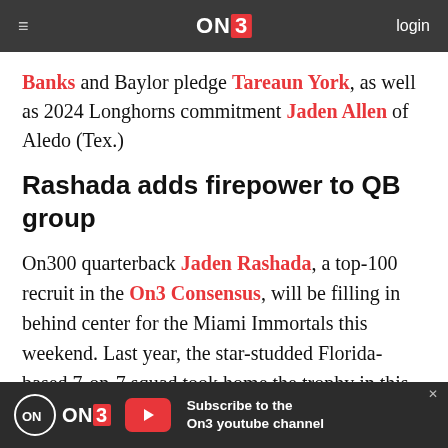ON3 | login
Banks and Baylor pledge Tareaun York, as well as 2024 Longhorns commitment Jaden Allen of Aledo (Tex.)
Rashada adds firepower to QB group
On300 quarterback Jaden Rashada, a top-100 recruit in the On3 Consensus, will be filling in behind center for the Miami Immortals this weekend. Last year, the star-studded Florida-based 7-on-7 squad took home the trophy in this tournament.
[Figure (other): ON3 advertisement banner: Subscribe to the On3 youtube channel]